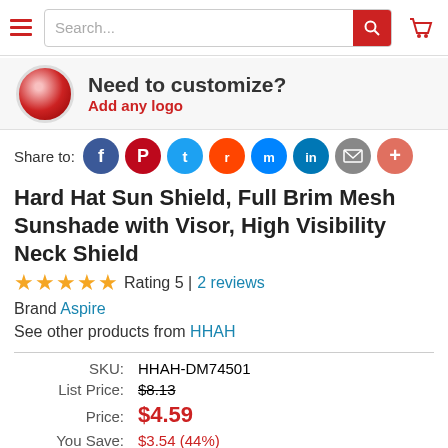[Figure (screenshot): Navigation bar with hamburger menu, search box, and cart icon]
[Figure (infographic): Customize banner with red button icon, 'Need to customize?' text and 'Add any logo' subtext]
Share to:
[Figure (infographic): Social share icons: Facebook, Pinterest, Twitter, Reddit, Messenger, LinkedIn, Email, More]
Hard Hat Sun Shield, Full Brim Mesh Sunshade with Visor, High Visibility Neck Shield
Rating 5 | 2 reviews
Brand Aspire
See other products from HHAH
| SKU: | HHAH-DM74501 |
| List Price: | $8.13 |
| Price: | $4.59 |
| You Save: | $3.54 (44%) |
| Promo: | $3.90 Save 15% when you spend $200+ on select products Mix More > |